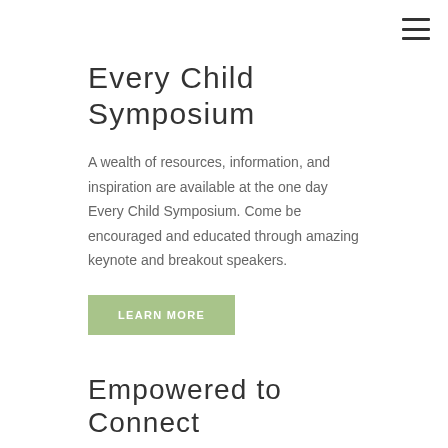Every Child Symposium
A wealth of resources, information, and inspiration are available at the one day Every Child Symposium. Come be encouraged and educated through amazing keynote and breakout speakers.
LEARN MORE
Empowered to Connect
An interactive learning experience